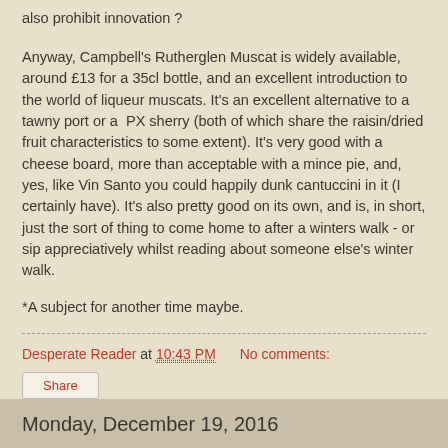also prohibit innovation ?
Anyway, Campbell's Rutherglen Muscat is widely available, around £13 for a 35cl bottle, and an excellent introduction to the world of liqueur muscats. It's an excellent alternative to a tawny port or a  PX sherry (both of which share the raisin/dried fruit characteristics to some extent). It's very good with a cheese board, more than acceptable with a mince pie, and, yes, like Vin Santo you could happily dunk cantuccini in it (I certainly have). It's also pretty good on its own, and is, in short, just the sort of thing to come home to after a winters walk - or sip appreciatively whilst reading about someone else's winter walk.
*A subject for another time maybe.
Desperate Reader at 10:43 PM    No comments:
Share
Monday, December 19, 2016